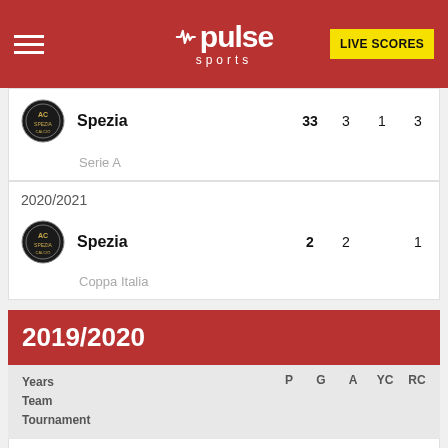Pulse Sports - LIVE SCORES
| Team | P | G | A | YC | RC |
| --- | --- | --- | --- | --- | --- |
| Spezia | 33 | 3 | 1 | 3 |  |
| Serie A |  |  |  |  |  |
2020/2021
| Team | P | G | A | YC | RC |
| --- | --- | --- | --- | --- | --- |
| Spezia | 2 | 2 |  | 1 |  |
| Coppa Italia |  |  |  |  |  |
2019/2020
| Years
Team
Tournament | P | G | A | YC | RC |
| --- | --- | --- | --- | --- | --- |
| 2019/2020
Spezia | 34 | 2 | 7 | 9 | 2 |